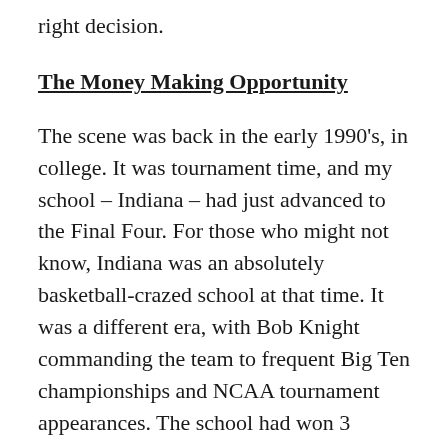right decision.
The Money Making Opportunity
The scene was back in the early 1990's, in college. It was tournament time, and my school – Indiana – had just advanced to the Final Four. For those who might not know, Indiana was an absolutely basketball-crazed school at that time. It was a different era, with Bob Knight commanding the team to frequent Big Ten championships and NCAA tournament appearances. The school had won 3 National Championships with him, and many people were hoping this would be title #4. Students and alumni alike were fired up.
As I recall it, a lottery of sorts was held to